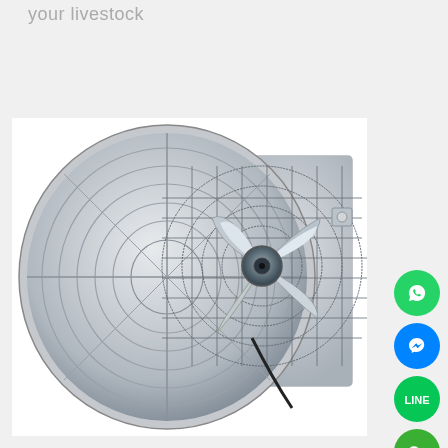your livestock
[Figure (photo): Large industrial exhaust fan with circular metal grill and fan blades, mounted on a square panel, shown from an angle. The fan appears to be a livestock ventilation/cooling fan with a fiberglass cone and wire guard.]
[Figure (other): Social media contact icons arranged vertically on the right side: WhatsApp (green), Facebook Messenger (blue), LINE (green), WeChat (green), Skype (blue), Email (red), Close/X (purple)]